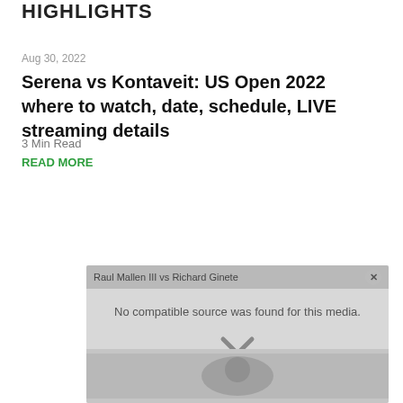HIGHLIGHTS
Aug 30, 2022
Serena vs Kontaveit: US Open 2022 where to watch, date, schedule, LIVE streaming details
3 Min Read
READ MORE
[Figure (screenshot): Embedded video player showing 'Raul Mallen III vs Richard Ginete' with a 'No compatible source was found for this media.' error message and an X close symbol overlaying a blurred background image.]